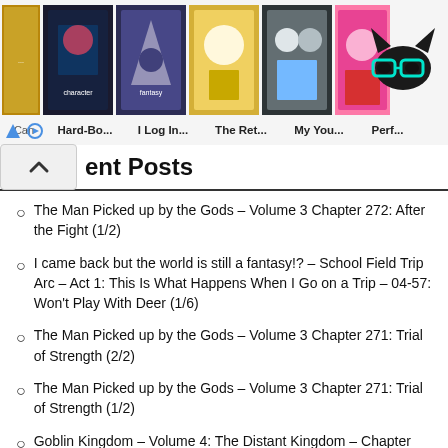[Figure (screenshot): Top navigation bar showing manga/comic thumbnails with titles: Hard-Bo..., I Log In..., The Ret..., My You..., Perf..., and a cat logo icon with teal glasses on the right]
Recent Posts
The Man Picked up by the Gods – Volume 3 Chapter 272: After the Fight (1/2)
I came back but the world is still a fantasy!? – School Field Trip Arc – Act 1: This Is What Happens When I Go on a Trip – 04-57: Won't Play With Deer (1/6)
The Man Picked up by the Gods – Volume 3 Chapter 271: Trial of Strength (2/2)
The Man Picked up by the Gods – Volume 3 Chapter 271: Trial of Strength (1/2)
Goblin Kingdom – Volume 4: The Distant Kingdom – Chapter 292 – Return of the Age of the Gods (2/2)